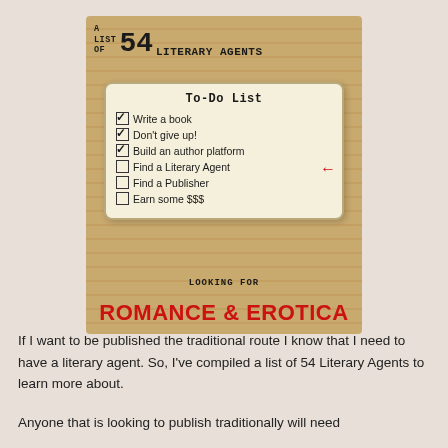[Figure (infographic): Infographic on wood-grain background showing 'A List of 54 Literary Agents' title with a To-Do List card containing checkboxes, and footer text 'Looking for Romance & Erotica']
If I want to be published the traditional route I know that I need to have a literary agent. So, I've compiled a list of 54 Literary Agents to learn more about.
Anyone that is looking to publish traditionally will need